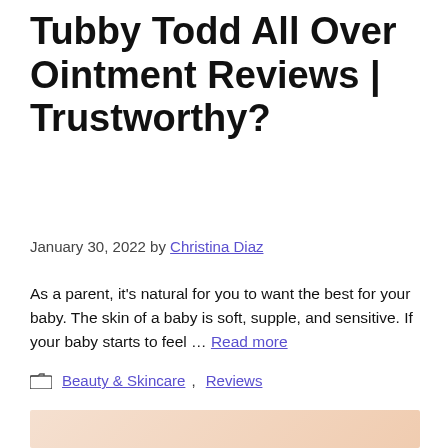Tubby Todd All Over Ointment Reviews | Trustworthy?
January 30, 2022 by Christina Diaz
As a parent, it’s natural for you to want the best for your baby. The skin of a baby is soft, supple, and sensitive. If your baby starts to feel … Read more
Beauty & Skincare, Reviews
[Figure (photo): Partial image of a baby or skin-related product photo, peach/skin-tone background with a partial logo or illustration visible at bottom left]